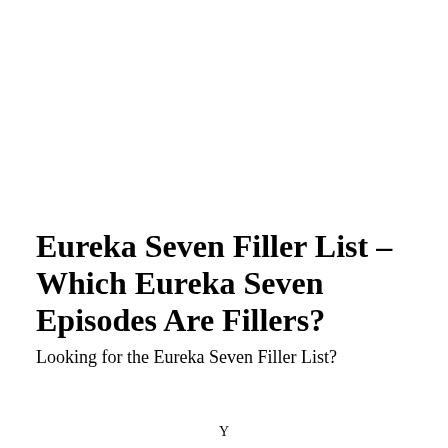Eureka Seven Filler List – Which Eureka Seven Episodes Are Fillers?
Looking for the Eureka Seven Filler List?
Y